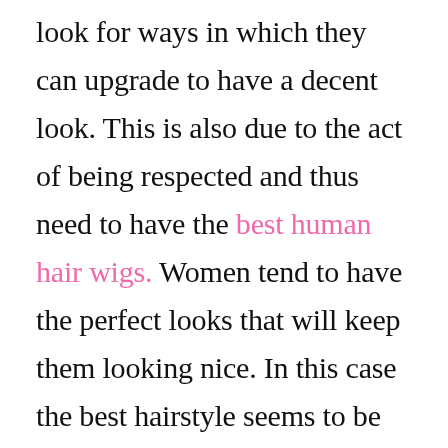look for ways in which they can upgrade to have a decent look. This is also due to the act of being respected and thus need to have the best human hair wigs. Women tend to have the perfect looks that will keep them looking nice. In this case the best hairstyle seems to be the good concept. You require good options that matter while you are choosing the best look. In this way then you will make up your mind to have a very good look in